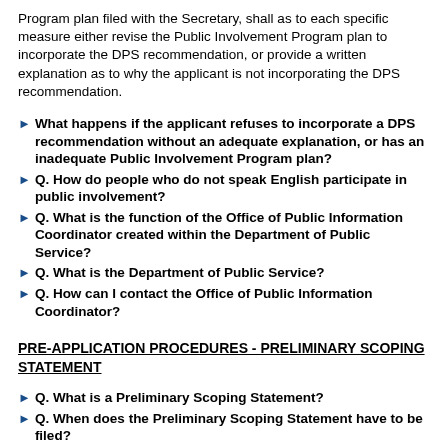Program plan filed with the Secretary, shall as to each specific measure either revise the Public Involvement Program plan to incorporate the DPS recommendation, or provide a written explanation as to why the applicant is not incorporating the DPS recommendation.
What happens if the applicant refuses to incorporate a DPS recommendation without an adequate explanation, or has an inadequate Public Involvement Program plan?
Q. How do people who do not speak English participate in public involvement?
Q. What is the function of the Office of Public Information Coordinator created within the Department of Public Service?
Q. What is the Department of Public Service?
Q. How can I contact the Office of Public Information Coordinator?
PRE-APPLICATION PROCEDURES - PRELIMINARY SCOPING STATEMENT
Q. What is a Preliminary Scoping Statement?
Q. When does the Preliminary Scoping Statement have to be filed?
Q. What kind of information must be included in a Preliminary Scoping Statement?